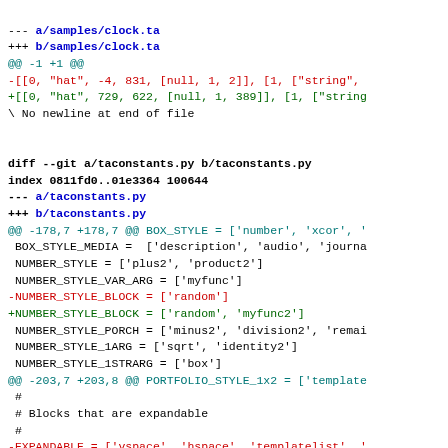--- a/samples/clock.ta
+++ b/samples/clock.ta
@@ -1 +1 @@
-[[0, "hat", -4, 831, [null, 1, 2]], [1, ["string",
+[[0, "hat", 729, 622, [null, 1, 389]], [1, ["string
\ No newline at end of file

diff --git a/taconstants.py b/taconstants.py
index 0811fd0..01e3364 100644
--- a/taconstants.py
+++ b/taconstants.py
@@ -178,7 +178,7 @@ BOX_STYLE = ['number', 'xcor', '
 BOX_STYLE_MEDIA =  ['description', 'audio', 'journa
 NUMBER_STYLE = ['plus2', 'product2']
 NUMBER_STYLE_VAR_ARG = ['myfunc']
-NUMBER_STYLE_BLOCK = ['random']
+NUMBER_STYLE_BLOCK = ['random', 'myfunc2']
 NUMBER_STYLE_PORCH = ['minus2', 'division2', 'remai
 NUMBER_STYLE_1ARG = ['sqrt', 'identity2']
 NUMBER_STYLE_1STRARG = ['box']
@@ -203,7 +203,8 @@ PORTFOLIO_STYLE_1x2 = ['template
 #
 # Blocks that are expandable
 #
-EXPANDABLE = ['vspace', 'hspace', 'templatelist', '
+EXPANDABLE = ['vspace', 'hspace', 'templatelist', '
+          'myfunc2']

 #
 # Blocks that are 'collapsible'